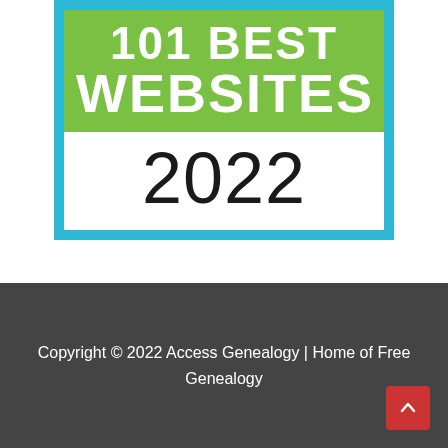[Figure (logo): Badge graphic reading '101 BEST WEBSITES 2022' with teal border, green top section with white bold text '101 BEST WEBSITES', and white bottom section with large black text '2022']
Copyright © 2022 Access Genealogy | Home of Free Genealogy